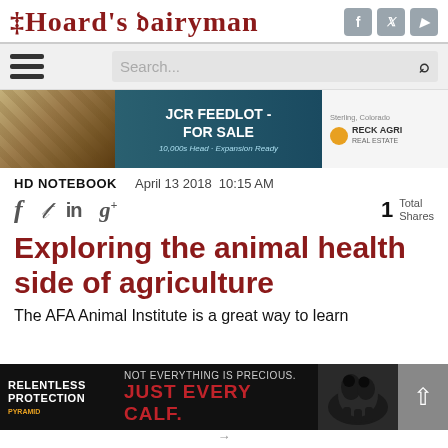[Figure (logo): Hoard's Dairyman logo in red serif decorative font with social media icons (Facebook, Twitter, YouTube) in grey on the right]
[Figure (infographic): Navigation bar with hamburger menu icon on left and search bar on right]
[Figure (photo): JCR Feedlot For Sale advertisement banner - aerial photo of feedlot on left, teal background with text 'JCR FEEDLOT - FOR SALE', Sterling Colorado, Reck Agri logo]
HD NOTEBOOK    April 13 2018  10:15 AM
[Figure (infographic): Social sharing icons row: Facebook f, Twitter bird, LinkedIn in, Google+ g+, and 1 Total Shares]
Exploring the animal health side of agriculture
The AFA Animal Institute is a great way to learn
[Figure (photo): Bottom advertisement: Relentless Protection by Pyramid, NOT EVERYTHING IS PRECIOUS. JUST EVERY CALF. with calf photo on right]